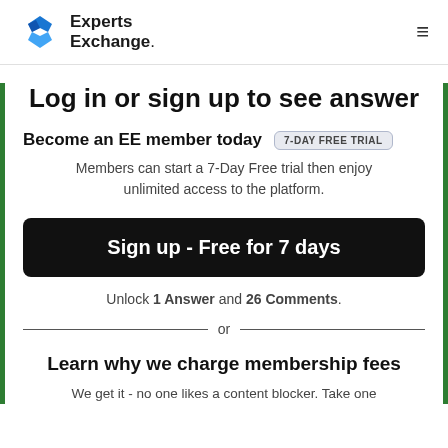Experts Exchange
Log in or sign up to see answer
Become an EE member today  7-DAY FREE TRIAL
Members can start a 7-Day Free trial then enjoy unlimited access to the platform.
Sign up - Free for 7 days
Unlock 1 Answer and 26 Comments.
or
Learn why we charge membership fees
We get it - no one likes a content blocker. Take one